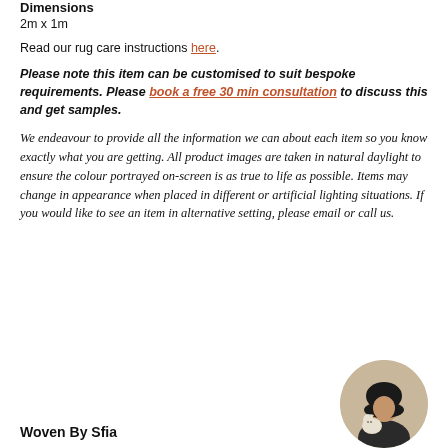Dimensions
2m x 1m
Read our rug care instructions here.
Please note this item can be customised to suit bespoke requirements. Please book a free 30 min consultation to discuss this and get samples.
We endeavour to provide all the information we can about each item so you know exactly what you are getting. All product images are taken in natural daylight to ensure the colour portrayed on-screen is as true to life as possible. Items may change in appearance when placed in different or artificial lighting situations. If you would like to see an item in alternative setting, please email or call us.
Woven By Sfia
[Figure (photo): Circular portrait photo of a woman wearing a hijab holding a cat]